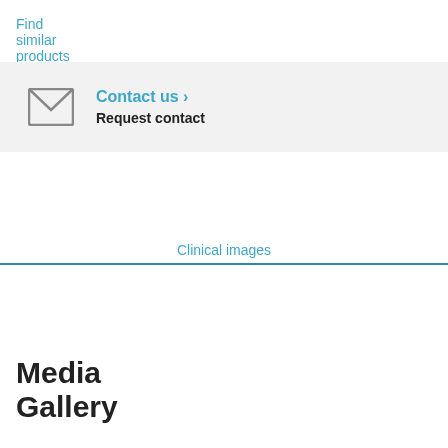Find similar products ›
Contact us › Request contact
Media Gallery
Clinical images